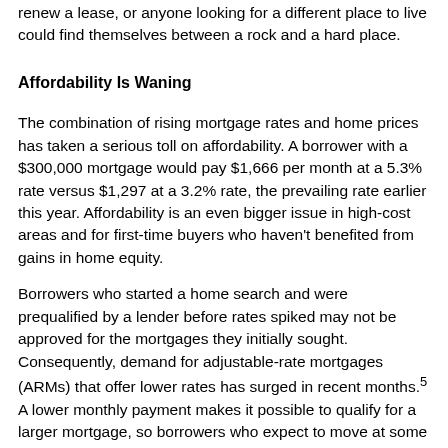renew a lease, or anyone looking for a different place to live could find themselves between a rock and a hard place.
Affordability Is Waning
The combination of rising mortgage rates and home prices has taken a serious toll on affordability. A borrower with a $300,000 mortgage would pay $1,666 per month at a 5.3% rate versus $1,297 at a 3.2% rate, the prevailing rate earlier this year. Affordability is an even bigger issue in high-cost areas and for first-time buyers who haven't benefited from gains in home equity.
Borrowers who started a home search and were prequalified by a lender before rates spiked may not be approved for the mortgages they initially sought. Consequently, demand for adjustable-rate mortgages (ARMs) that offer lower rates has surged in recent months.5 A lower monthly payment makes it possible to qualify for a larger mortgage, so borrowers who expect to move at some point may be comfortable with an ARM that has a fixed rate for the first three, five, seven, or 10 years of the 30-year term before it adjusts to prevailing rates.